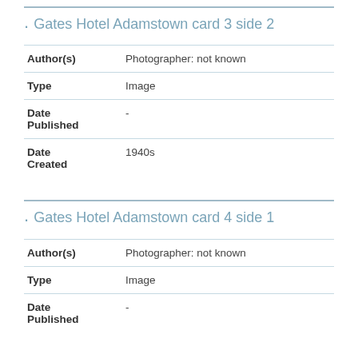Gates Hotel Adamstown card 3 side 2
| Author(s) | Photographer: not known |
| Type | Image |
| Date Published | - |
| Date Created | 1940s |
Gates Hotel Adamstown card 4 side 1
| Author(s) | Photographer: not known |
| Type | Image |
| Date Published | - |